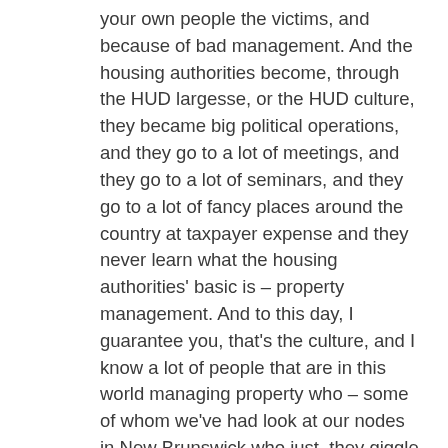your own people the victims, and because of bad management. And the housing authorities become, through the HUD largesse, or the HUD culture, they became big political operations, and they go to a lot of meetings, and they go to a lot of seminars, and they go to a lot of fancy places around the country at taxpayer expense and they never learn what the housing authorities' basic is – property management. And to this day, I guarantee you, that's the culture, and I know a lot of people that are in this world managing property who – some of whom we've had look at our nodes in New Brunswick who just, they giggle at it, not giggle, they actually get frustrated, because it's so poor how these are managed. So the Memorial Homes took on the culture of all of these high-rise low-incomes. They became a haven for the drug culture. They became a haven for police problems. Anybody that was being chased by the police would – the police would have to cordon off Memorial Homes because if they got in there, they didn't necessarily live there, it was a compound. If they get inside the